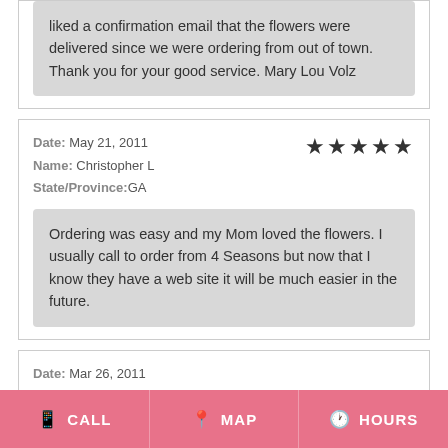liked a confirmation email that the flowers were delivered since we were ordering from out of town. Thank you for your good service. Mary Lou Volz
Date: May 21, 2011
Name: Christopher L
State/Province:GA
★★★★★ (5 stars)
Ordering was easy and my Mom loved the flowers. I usually call to order from 4 Seasons but now that I know they have a web site it will be much easier in the future.
Date: Mar 26, 2011
CALL  MAP  HOURS